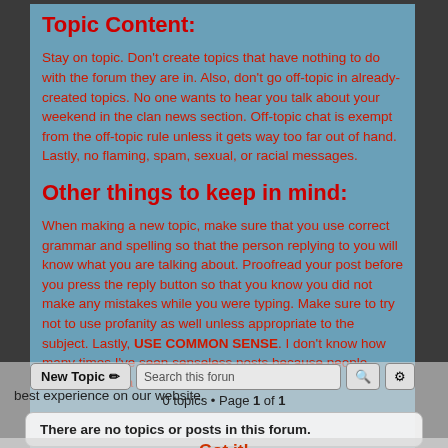Topic Content:
Stay on topic. Don't create topics that have nothing to do with the forum they are in. Also, don't go off-topic in already-created topics. No one wants to hear you talk about your weekend in the clan news section. Off-topic chat is exempt from the off-topic rule unless it gets way too far out of hand. Lastly, no flaming, spam, sexual, or racial messages.
Other things to keep in mind:
When making a new topic, make sure that you use correct grammar and spelling so that the person replying to you will know what you are talking about. Proofread your post before you press the reply button so that you know you did not make any mistakes while you were typing. Make sure to try not to use profanity as well unless appropriate to the subject. Lastly, USE COMMON SENSE. I don't know how many times I've seen senseless posts because people haven't taken a moment to think before acting.
0 topics • Page 1 of 1
There are no topics or posts in this forum.
Got it!